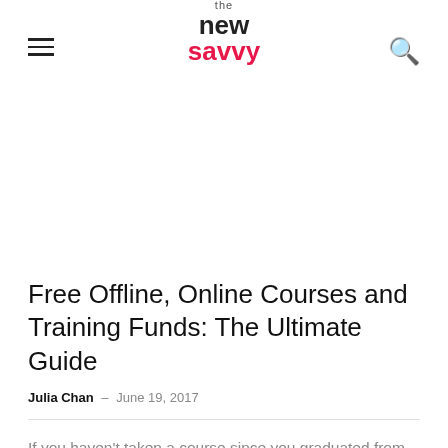the new savvy
Free Offline, Online Courses and Training Funds: The Ultimate Guide
Julia Chan – June 19, 2017
If you haven't taken a course since you graduated from school, it is like exercising. The hardest part is putting on your shoes and going out the